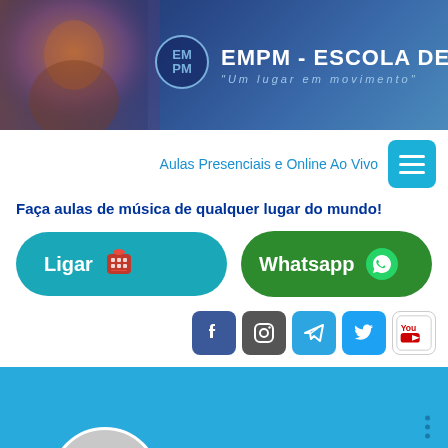[Figure (screenshot): EMPM - Escola de Música banner with logo badge showing EM/PM and subtitle 'Um lugar em movimento', dark blue gradient background with person silhouette]
Aulas Presenciais e Online Ao Vivo
Faça aulas de música de qualquer lugar do mundo!
[Figure (infographic): Two CTA buttons: 'Ligar' (teal/cyan with phone icon) and 'Whatsapp' (dark green with WhatsApp icon)]
[Figure (infographic): Social media icons row: Facebook, Instagram, Telegram, Twitter, YouTube]
[Figure (screenshot): Blue section with three-dot menu icon and circular avatar placeholder with letter W]
Weight loss with sarms, liga